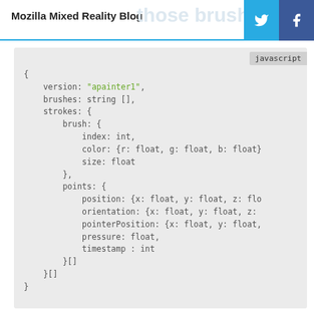Mozilla Mixed Reality Blog
those brush presets
javascript
{
    version: "apainter1",
    brushes: string [],
    strokes: {
        brush: {
            index: int,
            color: {r: float, g: float, b: float}
            size: float
        },
        points: {
            position: {x: float, y: float, z: flo
            orientation: {x: float, y: float, z:
            pointerPosition: {x: float, y: float,
            pressure: float,
            timestamp : int
        }[]
    }[]
}